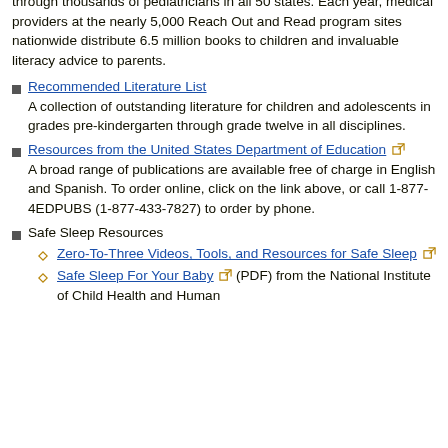through thousands of pediatricians in all 50 states. Each year, medical providers at the nearly 5,000 Reach Out and Read program sites nationwide distribute 6.5 million books to children and invaluable literacy advice to parents.
Recommended Literature List
A collection of outstanding literature for children and adolescents in grades pre-kindergarten through grade twelve in all disciplines.
Resources from the United States Department of Education [external link]
A broad range of publications are available free of charge in English and Spanish. To order online, click on the link above, or call 1-877-4EDPUBS (1-877-433-7827) to order by phone.
Safe Sleep Resources
Zero-To-Three Videos, Tools, and Resources for Safe Sleep [external link]
Safe Sleep For Your Baby [external link] (PDF) from the National Institute of Child Health and Human